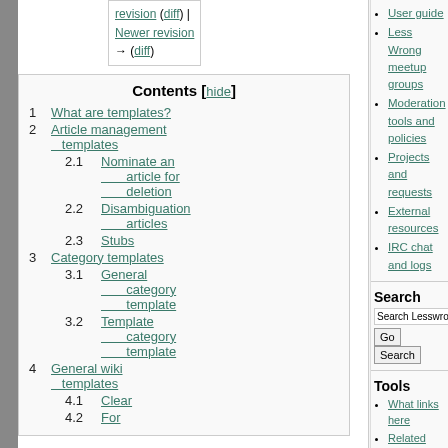revision (diff) | Newer revision → (diff)
Contents [hide]
1 What are templates?
2 Article management templates
2.1 Nominate an article for deletion
2.2 Disambiguation articles
2.3 Stubs
3 Category templates
3.1 General category template
3.2 Template category template
4 General wiki templates
4.1 Clear
4.2 For
User guide
Less Wrong meetup groups
Moderation tools and policies
Projects and requests
External resources
IRC chat and logs
Search
Tools
What links here
Related changes
Special pages
Printable version
Permanent link
Page information